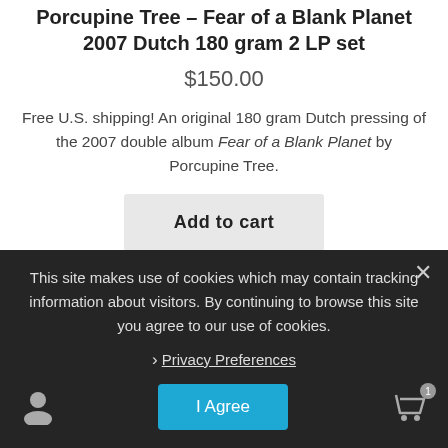Porcupine Tree – Fear of a Blank Planet 2007 Dutch 180 gram 2 LP set
$150.00
Free U.S. shipping! An original 180 gram Dutch pressing of the 2007 double album Fear of a Blank Planet by Porcupine Tree.
Add to cart
This site makes use of cookies which may contain tracking information about visitors. By continuing to browse this site you agree to our use of cookies.
Privacy Preferences
I Agree